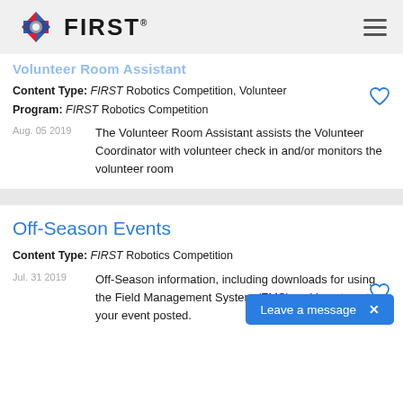FIRST (logo header with hamburger menu)
Volunteer Room Assistant (partial)
Content Type: FIRST Robotics Competition, Volunteer
Program: FIRST Robotics Competition
Aug. 05 2019 — The Volunteer Room Assistant assists the Volunteer Coordinator with volunteer check in and/or monitors the volunteer room
Off-Season Events
Content Type: FIRST Robotics Competition
Jul. 31 2019 — Off-Season information, including downloads for using the Field Management System (FMS) and how to get your event posted.